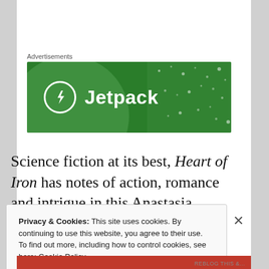Advertisements
[Figure (logo): Jetpack advertisement banner — green background with Jetpack logo (lightning bolt in circle) and bold white text 'Jetpack']
Science fiction at its best, Heart of Iron has notes of action, romance and intrigue in this Anastasia retelling!
Privacy & Cookies: This site uses cookies. By continuing to use this website, you agree to their use.
To find out more, including how to control cookies, see here: Cookie Policy
Close and accept